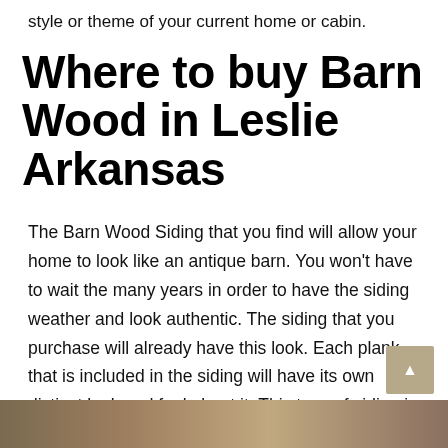style or theme of your current home or cabin.
Where to buy Barn Wood in Leslie Arkansas
The Barn Wood Siding that you find will allow your home to look like an antique barn. You won't have to wait the many years in order to have the siding weather and look authentic. The siding that you purchase will already have this look. Each plank that is included in the siding will have its own distinct look and feel about it. This type of siding is created actually from old barn wood. This barn wood goes through a process in order for it to be used as siding. These planks go through a process where all the bolts, nails, and any type of construction building material is removed from the boards.
[Figure (photo): Photo strip of barn wood at the bottom of the page]